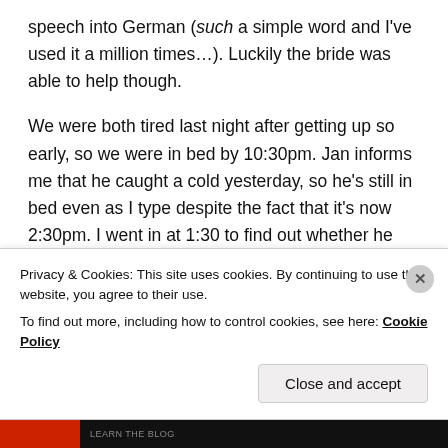speech into German (such a simple word and I've used it a million times…). Luckily the bride was able to help though.
We were both tired last night after getting up so early, so we were in bed by 10:30pm. Jan informs me that he caught a cold yesterday, so he's still in bed even as I type despite the fact that it's now 2:30pm. I went in at 1:30 to find out whether he wanted any lunch and he complained of a headache and asked for Erkältungstee (herbal tea for the curing of colds). So I fetched tea, I fetched cheese on toast and earlier I did some washing
Privacy & Cookies: This site uses cookies. By continuing to use this website, you agree to their use.
To find out more, including how to control cookies, see here: Cookie Policy
Close and accept